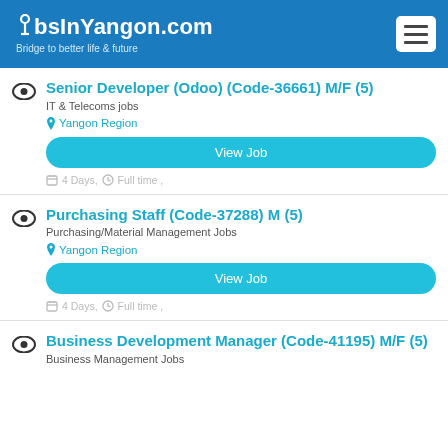JobsInYangon.com — Bridge to better life & future
Senior Developer (Odoo) (Code-36661) M/F (5)
IT & Telecoms jobs
Yangon Region
View Job
4 Days,  Full time ,
Purchasing Staff (Code-37288) M  (5)
Purchasing/Material Management Jobs
Yangon Region
View Job
4 Days,  Full time ,
Business Development Manager (Code-41195) M/F  (5)
Business Management Jobs